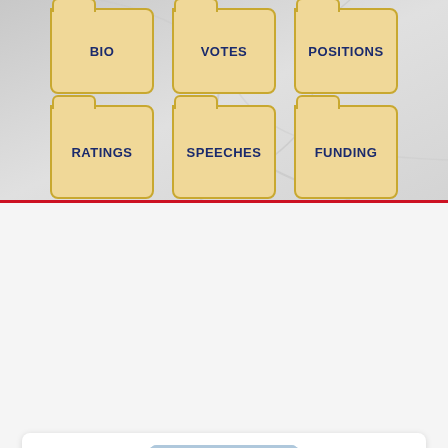[Figure (screenshot): Navigation folders grid with BIO, VOTES, POSITIONS in top row and RATINGS, SPEECHES, FUNDING in bottom row on a grey background]
[Figure (photo): Portrait photo of an elderly African-American man wearing glasses and a suit jacket with a tie, with the US Capitol building visible in the background]